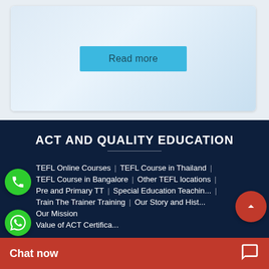[Figure (screenshot): White card with light blue gradient background containing a cyan 'Read more' button]
ACT AND QUALITY EDUCATION
TEFL Online Courses | TEFL Course in Thailand
TEFL Course in Bangalore | Other TEFL locations
Pre and Primary TT | Special Education Teaching
Train The Trainer Training | Our Story and History
Our Mission
Value of ACT Certifica...
Chat now